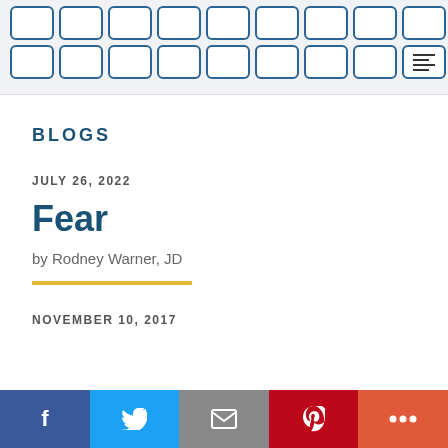[Figure (other): Navigation grid of rounded blue-bordered boxes, with the last box containing a list/menu icon]
BLOGS
JULY 26, 2022
Fear
by Rodney Warner, JD
NOVEMBER 10, 2017
[Figure (other): Social sharing bar with Facebook, Twitter, Email, Pinterest, and More buttons]